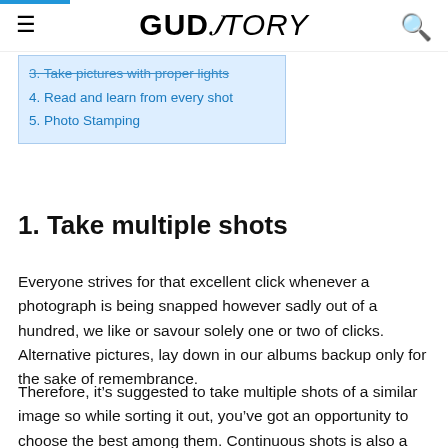GUDSTORY
3. Take pictures with proper lights
4. Read and learn from every shot
5. Photo Stamping
1. Take multiple shots
Everyone strives for that excellent click whenever a photograph is being snapped however sadly out of a hundred, we like or savour solely one or two of clicks. Alternative pictures, lay down in our albums backup only for the sake of remembrance.
Therefore, it's suggested to take multiple shots of a similar image so while sorting it out, you've got an opportunity to choose the best among them. Continuous shots is also a choice that you just